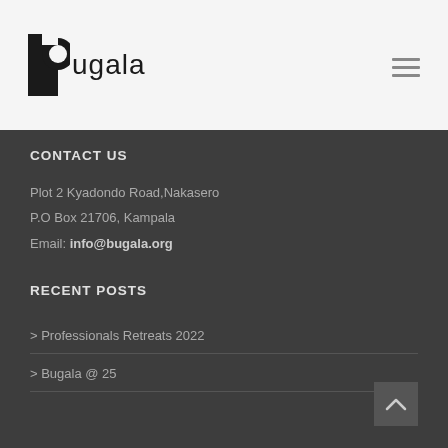bugala
CONTACT US
Plot 2 Kyadondo Road,Nakasero
P.O Box 21706, Kampala
Email: info@bugala.org
RECENT POSTS
> Professionals Retreats 2022
> Bugala @ 25